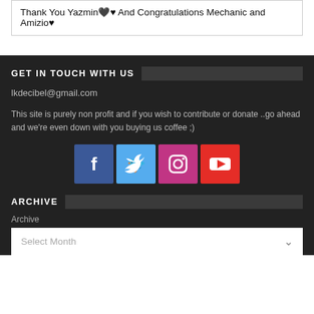Thank You Yazmin🖤♥ And Congratulations Mechanic and Amizio♥
GET IN TOUCH WITH US
lkdecibel@gmail.com
This site is purely non profit and if you wish to contribute or donate ..go ahead and we're even down with you buying us coffee ;)
[Figure (other): Social media icon buttons: Facebook (blue), Twitter (light blue), Instagram (purple/pink), YouTube (red)]
ARCHIVE
Archive
Select Month